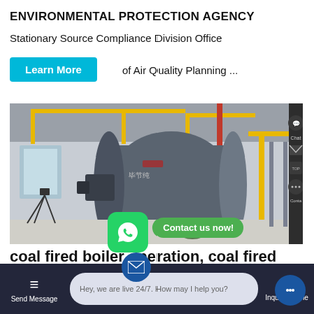ENVIRONMENTAL PROTECTION AGENCY
Stationary Source Compliance Division Office
Learn More
of Air Quality Planning ...
[Figure (photo): Industrial coal-fired boiler inside a factory/industrial facility. Large cylindrical gray boiler with yellow pipes, red vertical pipe, on a concrete floor, with windows and steel ceiling structure visible.]
Contact us now!
coal fired boiler operation, coal fired boiler operation
Hey, we are live 24/7. How may I help you?
Send Message
Inquiry Online